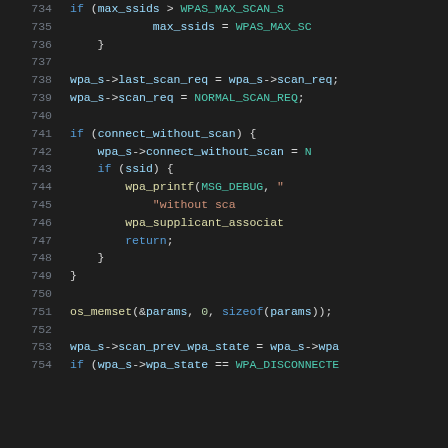[Figure (screenshot): Source code listing showing lines 734-754 of a C file, syntax highlighted with dark theme. Keywords in blue, strings in orange/green, variables in light blue, on dark background.]